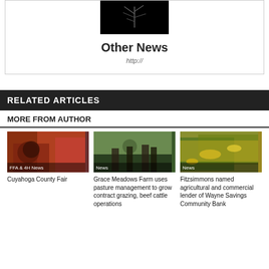[Figure (photo): Dark image with plant/tree silhouette on black background]
Other News
http://
RELATED ARTICLES
MORE FROM AUTHOR
[Figure (photo): FFA & 4H News - Cuyahoga County Fair, two young people at fair]
FFA & 4H News
Cuyahoga County Fair
[Figure (photo): News - Grace Meadows Farm, people standing in field]
News
Grace Meadows Farm uses pasture management to grow contract grazing, beef cattle operations
[Figure (photo): News - Fitzsimmons, dollar bills with corn kernels]
News
Fitzsimmons named agricultural and commercial lender of Wayne Savings Community Bank